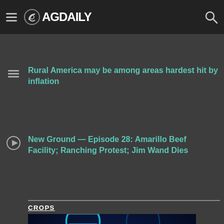AGDAILY
…ing a $200M Amarillo expansion
Rural America may be among areas hardest hit by inflation
New Ground — Episode 28: Amarillo Beef Facility; Ranching Protest; Jim Wand Dies
CROPS
[Figure (photo): Close-up photograph of illuminated blue DNA double helix strands against a dark background]